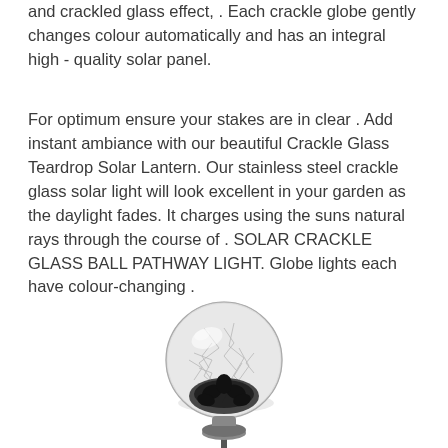and crackled glass effect, . Each crackle globe gently changes colour automatically and has an integral high - quality solar panel.
For optimum ensure your stakes are in clear . Add instant ambiance with our beautiful Crackle Glass Teardrop Solar Lantern. Our stainless steel crackle glass solar light will look excellent in your garden as the daylight fades. It charges using the suns natural rays through the course of . SOLAR CRACKLE GLASS BALL PATHWAY LIGHT. Globe lights each have colour-changing .
[Figure (photo): A crackle glass globe solar pathway light on a stake, showing the spherical clear crackled glass ball top with a dark base/stake.]